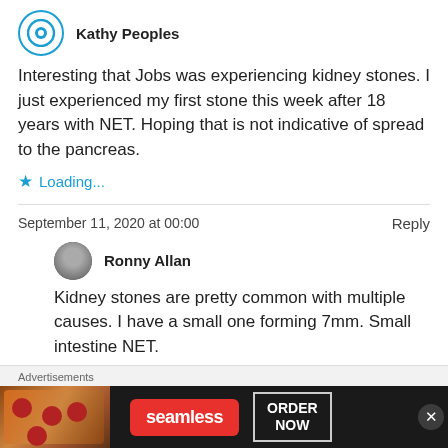Kathy Peoples
Interesting that Jobs was experiencing kidney stones. I just experienced my first stone this week after 18 years with NET. Hoping that is not indicative of spread to the pancreas.
Loading...
September 11, 2020 at 00:00
Reply
Ronny Allan
Kidney stones are pretty common with multiple causes. I have a small one forming 7mm. Small intestine NET.
Advertisements